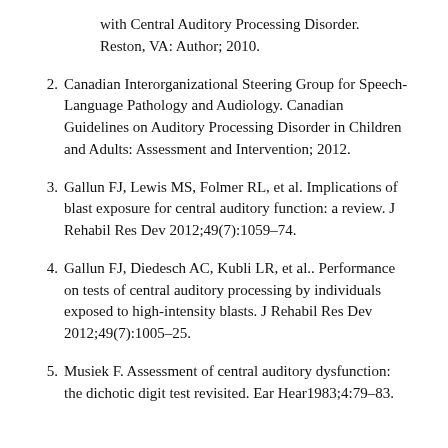with Central Auditory Processing Disorder. Reston, VA: Author; 2010.
2. Canadian Interorganizational Steering Group for Speech-Language Pathology and Audiology. Canadian Guidelines on Auditory Processing Disorder in Children and Adults: Assessment and Intervention; 2012.
3. Gallun FJ, Lewis MS, Folmer RL, et al. Implications of blast exposure for central auditory function: a review. J Rehabil Res Dev 2012;49(7):1059–74.
4. Gallun FJ, Diedesch AC, Kubli LR, et al.. Performance on tests of central auditory processing by individuals exposed to high-intensity blasts. J Rehabil Res Dev 2012;49(7):1005–25.
5. Musiek F. Assessment of central auditory dysfunction: the dichotic digit test revisited. Ear Hear1983;4:79–83.